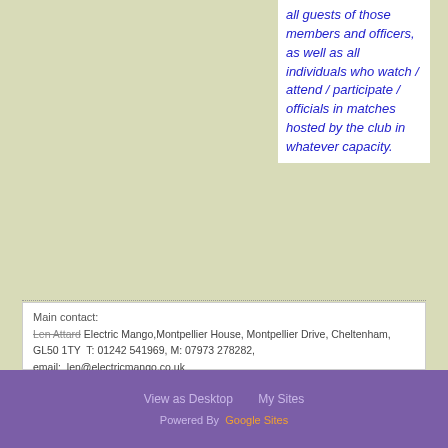all guests of those members and officers, as well as all individuals who watch / attend / participate / officials in matches hosted by the club in whatever capacity.
Main contact:
Len Attard Electric Mango,Montpellier House, Montpellier Drive, Cheltenham, GL50 1TY  T: 01242 541969, M: 07973 278282,
email:  len@electricmango.co.uk
View as Desktop   My Sites
Powered By  Google Sites